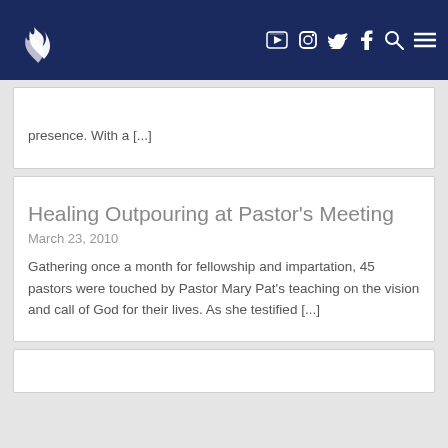Church website header with logo and navigation icons (YouTube, Instagram, Twitter, Facebook, Search, Menu)
presence. With a [...]
Healing Outpouring at Pastor's Meeting
March 23, 2010
Gathering once a month for fellowship and impartation, 45 pastors were touched by Pastor Mary Pat's teaching on the vision and call of God for their lives. As she testified [...]